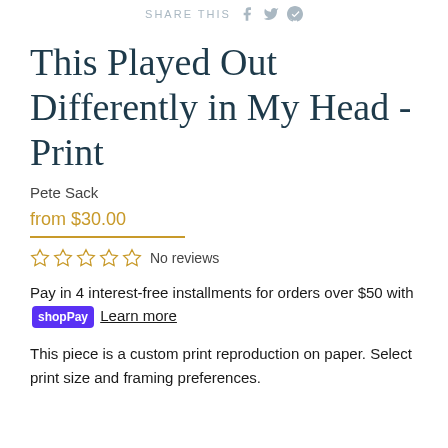SHARE THIS
This Played Out Differently in My Head - Print
Pete Sack
from $30.00
☆ ☆ ☆ ☆ ☆ No reviews
Pay in 4 interest-free installments for orders over $50 with shop Pay Learn more
This piece is a custom print reproduction on paper. Select print size and framing preferences.